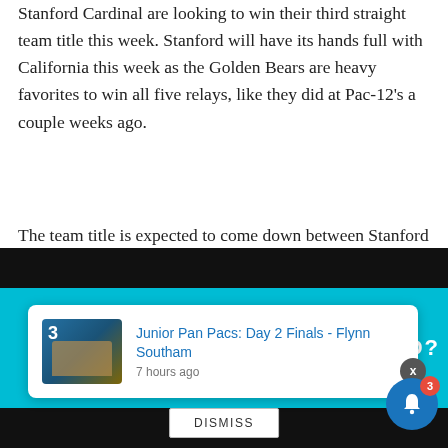Stanford Cardinal are looking to win their third straight team title this week. Stanford will have its hands full with California this week as the Golden Bears are heavy favorites to win all five relays, like they did at Pac-12's a couple weeks ago.
The team title is expected to come down between Stanford and Cal. Michigan and Tennessee are scored to finish in the top four.
Swimming World's team of Andy Ross, Chandler Brandes, Dan D'Addona, David Rieder and Diana Pimer have
[Figure (screenshot): Notification popup overlay showing: a notification card with a thumbnail image (swimmer wearing number 3), title 'Junior Pan Pacs: Day 2 Finals - Flynn Southam', timestamp '7 hours ago', a DISMISS button, an X close button, a blue notification bell icon with red badge showing '3', and a teal/cyan banner in the background with partial text 'HOUSAND?']